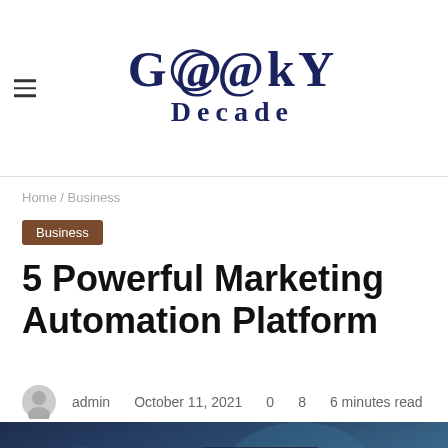Geeky Decade
Home / Business
Business
5 Powerful Marketing Automation Platform
admin   October 11, 2021   0   8   6 minutes read
[Figure (photo): Dashboard/technology image showing digital interface with globe and navigation icons, with colorful social media share bar at bottom]